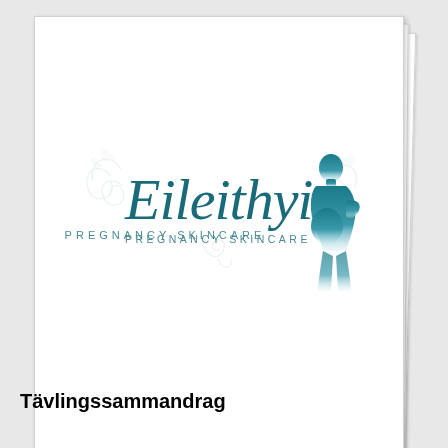[Figure (logo): Eileithyia Pregnancy Skincare logo: cursive teal/dark teal script text 'Eileithyia' with decorative swirl flourishes and a silhouette of a pregnant woman in teal gradient on the right side. Below the main script text is 'PREGNANCY SKINCARE' in spaced small caps lettering. The logo is shown on a white stacked paper/card background.]
Tävlingssammandrag